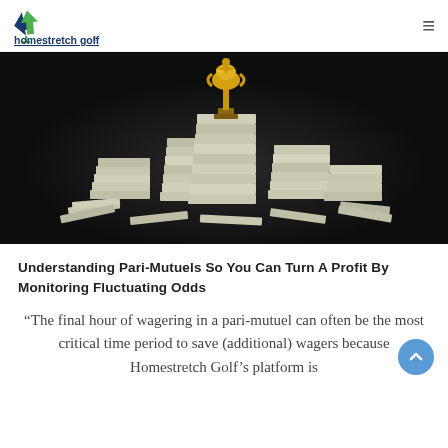homestretch golf®
[Figure (photo): Dark background photo showing stacks of US dollar bills arranged in a pyramid/staircase pattern with a gold trophy figurine on top]
Understanding Pari-Mutuels So You Can Turn A Profit By Monitoring Fluctuating Odds
“The final hour of wagering in a pari-mutuel can often be the most critical time period to save (additional) wagers because Homestretch Golf’s platform is